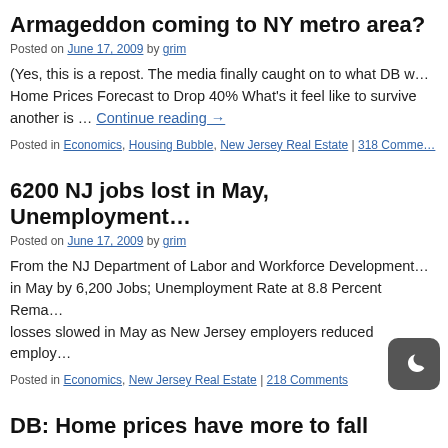Armageddon coming to NY metro area?
Posted on June 17, 2009 by grim
(Yes, this is a repost. The media finally caught on to what DB w… Home Prices Forecast to Drop 40% What's it feel like to survive another is … Continue reading →
Posted in Economics, Housing Bubble, New Jersey Real Estate | 318 Comme…
6200 NJ jobs lost in May, Unemployment…
Posted on June 17, 2009 by grim
From the NJ Department of Labor and Workforce Development… in May by 6,200 Jobs; Unemployment Rate at 8.8 Percent Rema… losses slowed in May as New Jersey employers reduced employ…
Posted in Economics, New Jersey Real Estate | 218 Comments
DB: Home prices have more to fall